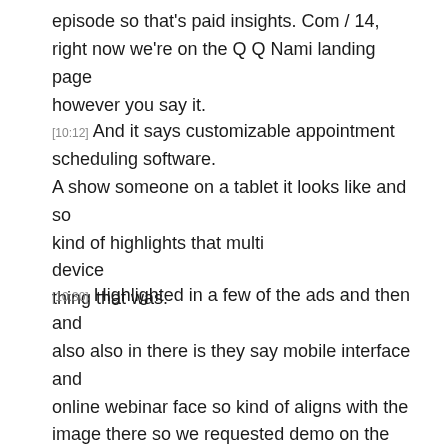episode so that's paid insights. Com / 14, right now we're on the Q Q Nami landing page however you say it.
[10:12] And it says customizable appointment scheduling software. A show someone on a tablet it looks like and so kind of highlights that multi device thing that was.
[10:30] Highlighted in a few of the ads and then and also also in there is they say mobile interface and online webinar face so kind of aligns with the image there so we requested demo on the corner, has to manage appointments and resources in all branches or stores multichannel for any.